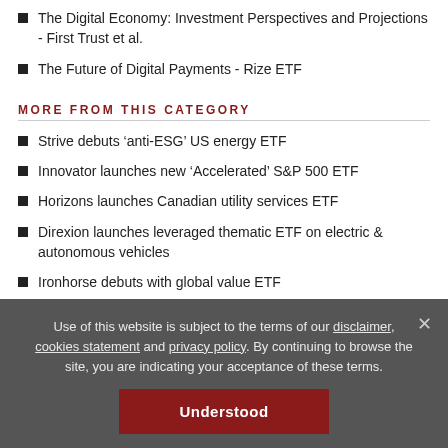The Digital Economy: Investment Perspectives and Projections - First Trust et al.
The Future of Digital Payments - Rize ETF
MORE FROM THIS CATEGORY
Strive debuts ‘anti-ESG’ US energy ETF
Innovator launches new ‘Accelerated’ S&P 500 ETF
Horizons launches Canadian utility services ETF
Direxion launches leveraged thematic ETF on electric & autonomous vehicles
Ironhorse debuts with global value ETF
BROWSE BY CATEGORY
Use of this website is subject to the terms of our disclaimer, cookies statement and privacy policy. By continuing to browse the site, you are indicating your acceptance of these terms.